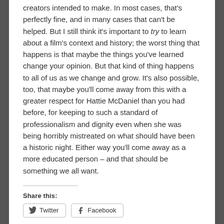creators intended to make. In most cases, that's perfectly fine, and in many cases that can't be helped. But I still think it's important to try to learn about a film's context and history; the worst thing that happens is that maybe the things you've learned change your opinion. But that kind of thing happens to all of us as we change and grow. It's also possible, too, that maybe you'll come away from this with a greater respect for Hattie McDaniel than you had before, for keeping to such a standard of professionalism and dignity even when she was being horribly mistreated on what should have been a historic night. Either way you'll come away as a more educated person – and that should be something we all want.
Share this: